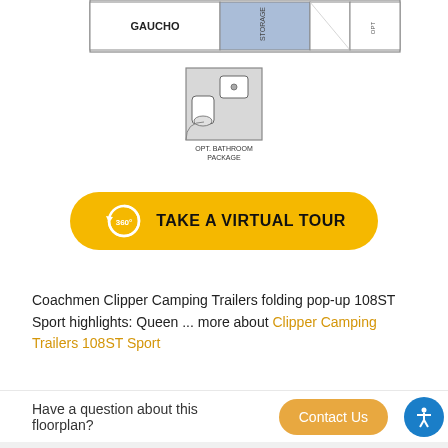[Figure (engineering-diagram): Floor plan top section showing GAUCHO label with storage areas and partial room layout]
[Figure (illustration): Optional bathroom package diagram with label 'OPT. BATHROOM PACKAGE']
[Figure (other): Yellow rounded button with 360-degree icon and text 'TAKE A VIRTUAL TOUR']
Coachmen Clipper Camping Trailers folding pop-up 108ST Sport highlights: Queen ... more about Clipper Camping Trailers 108ST Sport
Have a question about this floorplan?
Specifications